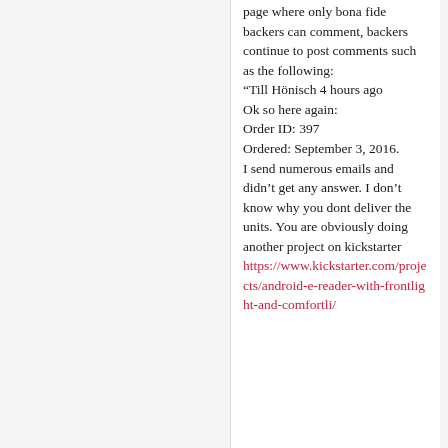page where only bona fide backers can comment, backers continue to post comments such as the following:
“Till Hönisch 4 hours ago

Ok so here again:
Order ID: 397
Ordered: September 3, 2016.
I send numerous emails and didn’t get any answer. I don’t know why you dont deliver the units. You are obviously doing another project on kickstarter https://www.kickstarter.com/projects/android-e-reader-with-frontlight-and-comfortli/